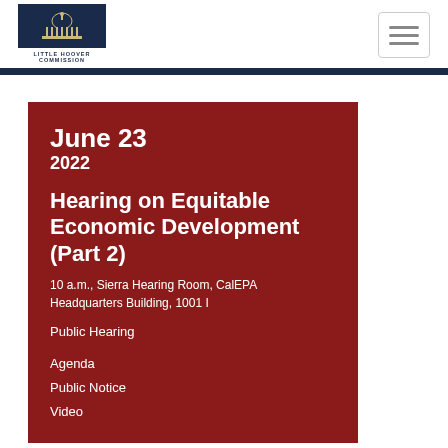[Figure (logo): Little Hoover Commission logo — dark navy rectangle with a capitol dome icon and the text LITTLE HOOVER COMMISSION below]
June 23
2022
Hearing on Equitable Economic Development (Part 2)
10 a.m., Sierra Hearing Room, CalEPA Headquarters Building, 1001 I
Public Hearing
Agenda
Public Notice
Video